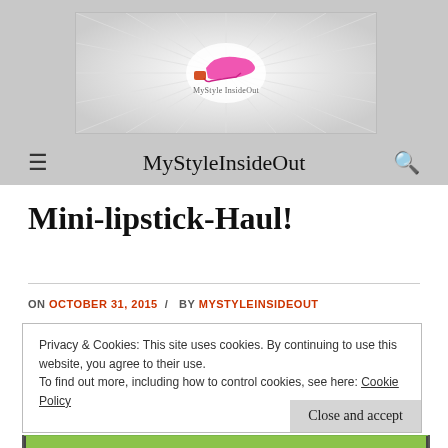[Figure (logo): MyStyleInsideOut blog banner/logo with radial light rays and a pink high heel shoe graphic in the center]
MyStyleInsideOut
Mini-lipstick-Haul!
ON OCTOBER 31, 2015 / BY MYSTYLEINSIDEOUT
Privacy & Cookies: This site uses cookies. By continuing to use this website, you agree to their use.
To find out more, including how to control cookies, see here: Cookie Policy
[Figure (photo): Partial view of a photo at the bottom of the page showing green/yellow background]